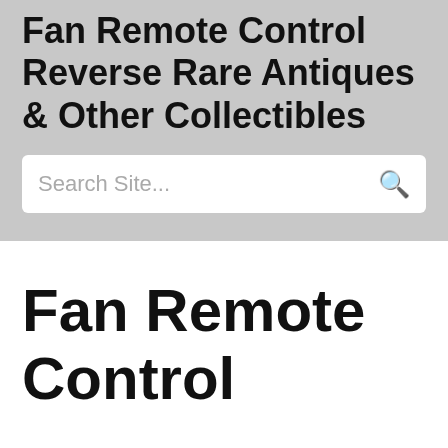Fan Remote Control Reverse Rare Antiques & Other Collectibles
Fan Remote Control